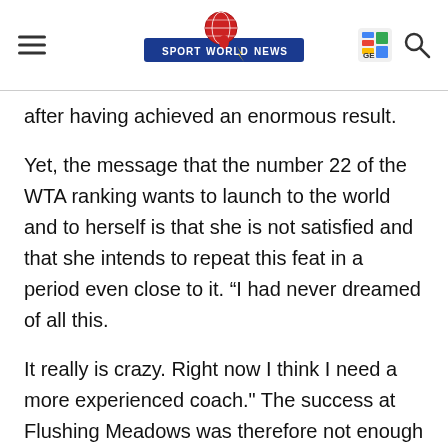SPORT WORLD NEWS
after having achieved an enormous result.
Yet, the message that the number 22 of the WTA ranking wants to launch to the world and to herself is that she is not satisfied and that she intends to repeat this feat in a period even close to it. “I had never dreamed of all this.
It really is crazy. Right now I think I need a more experienced coach." The success at Flushing Meadows was therefore not enough for Raducanu to continue to trust his coach: "After Wimbledon, I was around 200th place and at the time I thought Andrew would be a great trainer by trial, so we